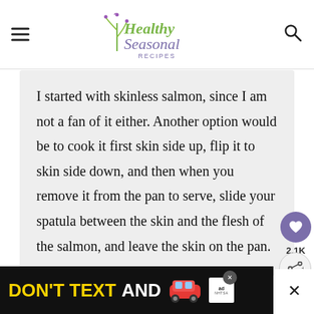Healthy Seasonal Recipes
I started with skinless salmon, since I am not a fan of it either. Another option would be to cook it first skin side up, flip it to skin side down, and then when you remove it from the pan to serve, slide your spatula between the skin and the flesh of the salmon, and leave the skin on the pan.
ALEXIS  SEPTEMBER 6, 2016 @ 8:38 AM
[Figure (screenshot): Advertisement banner: DON'T TEXT AND [car emoji] with NHTSA logo and close buttons]